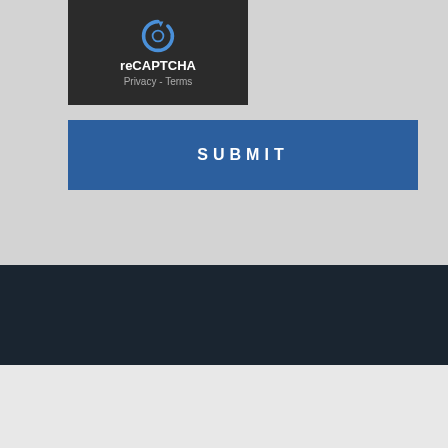[Figure (screenshot): reCAPTCHA widget with dark background showing Google reCAPTCHA logo, text 'reCAPTCHA', and 'Privacy - Terms' links]
SUBMIT
[Figure (illustration): Three circular social media icons: Facebook (f), Twitter (bird), YouTube (play button) on dark background]
Copyright @ 2018 Institute for Development and Communication.
All Rights Reserved.
Designed by KOKANE